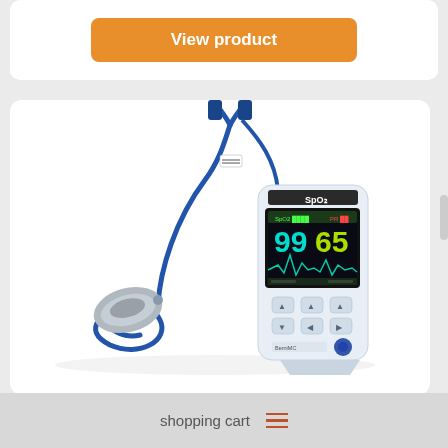View product
[Figure (photo): Handheld pulse oximeter device (SpO2 monitor) with display showing readings 99 and 65, connected via blue cable to a finger clip sensor. The device is white/light blue with keypad buttons and a color LCD screen. The finger probe is coiled on the left side.]
shopping cart ≡